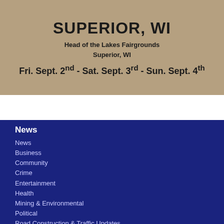[Figure (illustration): Advertisement banner for an event in Superior, WI at Head of the Lakes Fairgrounds, Fri. Sept. 2nd - Sat. Sept. 3rd - Sun. Sept. 4th]
News
News
Business
Community
Crime
Entertainment
Health
Mining & Environmental
Political
Road Construction & Traffic Updates
US & World News
Livestream
Sports
Sports
High School